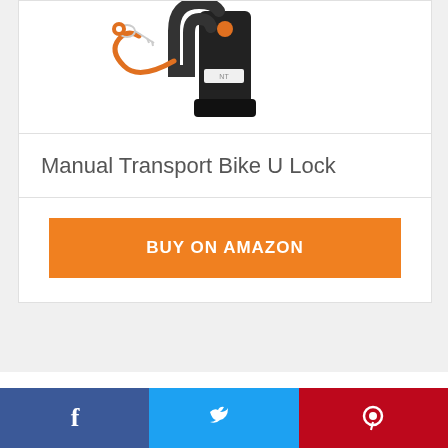[Figure (photo): Product photo of a Manual Transport Bike U Lock with keys and cable]
Manual Transport Bike U Lock
BUY ON AMAZON
Best Bike Locks for
[Figure (infographic): Social sharing bar with Facebook, Twitter, and Pinterest buttons]